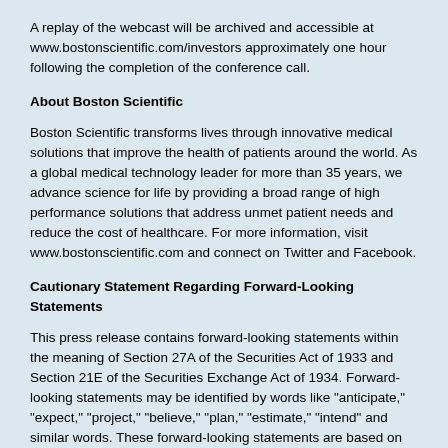A replay of the webcast will be archived and accessible at www.bostonscientific.com/investors approximately one hour following the completion of the conference call.
About Boston Scientific
Boston Scientific transforms lives through innovative medical solutions that improve the health of patients around the world. As a global medical technology leader for more than 35 years, we advance science for life by providing a broad range of high performance solutions that address unmet patient needs and reduce the cost of healthcare. For more information, visit www.bostonscientific.com and connect on Twitter and Facebook.
Cautionary Statement Regarding Forward-Looking Statements
This press release contains forward-looking statements within the meaning of Section 27A of the Securities Act of 1933 and Section 21E of the Securities Exchange Act of 1934. Forward-looking statements may be identified by words like "anticipate," "expect," "project," "believe," "plan," "estimate," "intend" and similar words. These forward-looking statements are based on our beliefs, assumptions and estimates using information available to us at the time and are not intended to be guarantees of future performance. The forward-looking